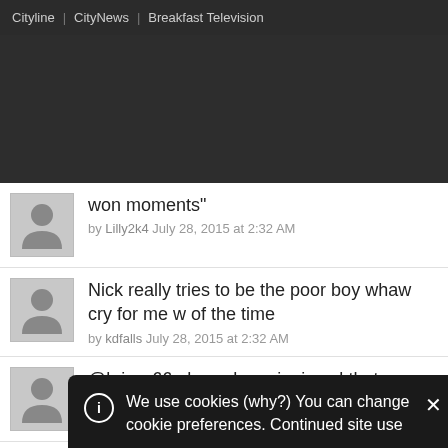Cityline | CityNews | Breakfast Television
[Figure (screenshot): Dark banner/advertisement area]
won moments"
by Lilly2k4 July 28, 2015 at 2:32 AM
Nick really tries to be the poor boy whaw cry for me w... of the time
by kdfalls July 28, 2015 at 2:32 AM
@krissy66 oh, perhaps i missed that...
by James July 28, 2015 at 2:33 AM
We use cookies (why?) You can change cookie preferences. Continued site use